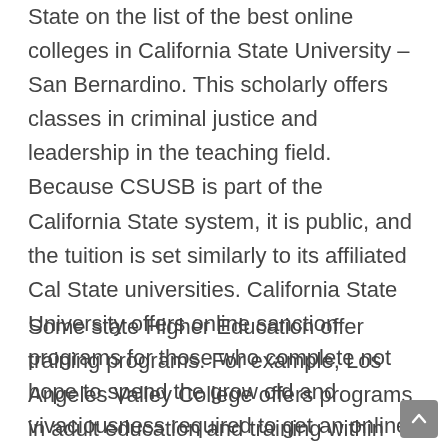State on the list of the best online colleges in California State University – San Bernardino. This scholarly offers classes in criminal justice and leadership in the teaching field. Because CSUSB is part of the California State system, it is public, and the tuition is set similarly to its affiliated Cal State universities. California State University offers online sanction programs for those who complete not hope to spend the grow old and vivaciousness required to get an online degree. Online sanction programs are training programs that have enough money students the opportunity to learn a power in less times than it takes to get your hands on a degree.
Some state Higher Education offer training programs. For example, Los Angeles Valley College offers programs in adult education and training within the workforce. Many of the programs target to the addition and...